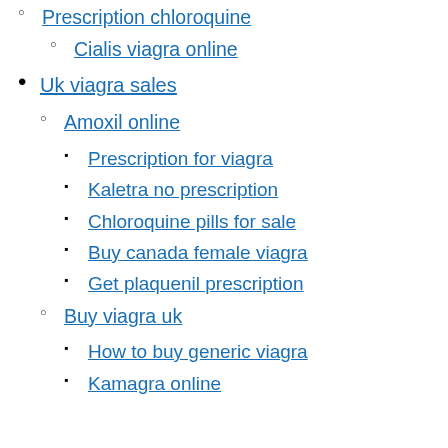Prescription chloroquine
Cialis viagra online
Uk viagra sales
Amoxil online
Prescription for viagra
Kaletra no prescription
Chloroquine pills for sale
Buy canada female viagra
Get plaquenil prescription
Buy viagra uk
How to buy generic viagra
Kamagra online